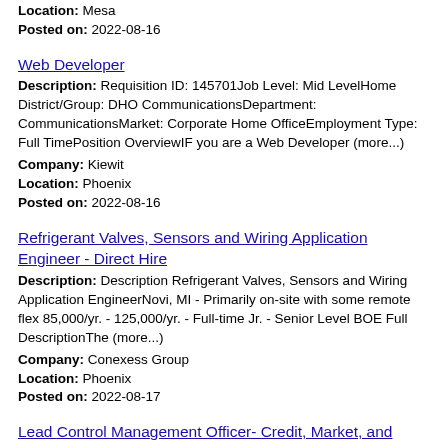Location: Mesa
Posted on: 2022-08-16
Web Developer
Description: Requisition ID: 145701Job Level: Mid LevelHome District/Group: DHO CommunicationsDepartment: CommunicationsMarket: Corporate Home OfficeEmployment Type: Full TimePosition OverviewIF you are a Web Developer (more...)
Company: Kiewit
Location: Phoenix
Posted on: 2022-08-16
Refrigerant Valves, Sensors and Wiring Application Engineer - Direct Hire
Description: Description Refrigerant Valves, Sensors and Wiring Application EngineerNovi, MI - Primarily on-site with some remote flex 85,000/yr. - 125,000/yr. - Full-time Jr. - Senior Level BOE Full DescriptionThe (more...)
Company: Conexess Group
Location: Phoenix
Posted on: 2022-08-17
Lead Control Management Officer- Credit, Market, and Counterparty Risk
Description: Job DescriptionAt Wells Fargo, we are looking for talented people who will put our customers at the center of